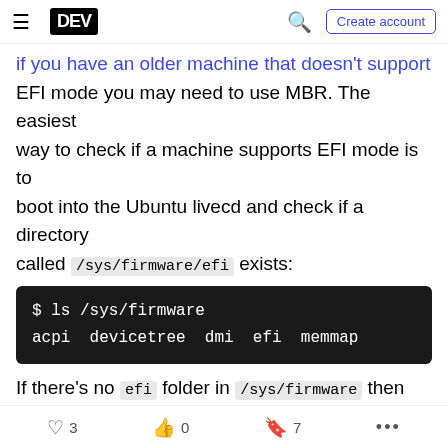DEV | Create account
if you have an older machine that doesn't support EFI mode you may need to use MBR. The easiest way to check if a machine supports EFI mode is to boot into the Ubuntu livecd and check if a directory called /sys/firmware/efi exists:
[Figure (screenshot): Terminal code block showing: $ ls /sys/firmware
acpi  devicetree  dmi  efi  memmap]
If there's no efi folder in /sys/firmware then you're on an MBR machine. If there is an efi folder present, then you're on an EFI machine and we'll need to create an EFI partition as well as a root
3 | 0 | 7 | ...